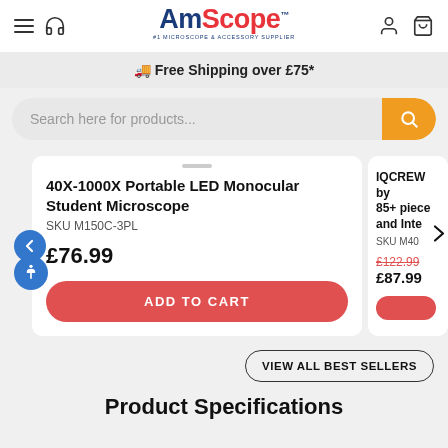[Figure (logo): AmScope logo with tagline #1 Microscope & Accessory Supplier]
Free Shipping over £75*
Search here for products...
40X-1000X Portable LED Monocular Student Microscope
SKU M150C-3PL
£76.99
ADD TO CART
IQCREW by 85+ piece and Inte SKU M40 £122.99 £87.99
VIEW ALL BEST SELLERS
Product Specifications